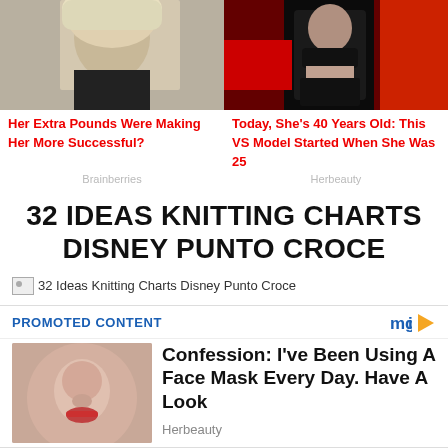[Figure (photo): Two celebrity/gossip ad images side by side at top: left shows a blonde woman, right shows a woman in black outfit]
Her Extra Pounds Were Making Her More Successful?
Today, She's 40 Years Old: This VS Model Started When She Was 25
Brainberries
Herbeauty
32 IDEAS KNITTING CHARTS DISNEY PUNTO CROCE
[Figure (photo): Broken image placeholder for '32 Ideas Knitting Charts Disney Punto Croce']
PROMOTED CONTENT
[Figure (photo): Close-up photo of a woman's face (nose and lips visible), skin care ad thumbnail]
Confession: I've Been Using A Face Mask Every Day. Have A Look
Herbeauty
[Figure (photo): Dark thumbnail for horror movies article]
7 Horror Movies For